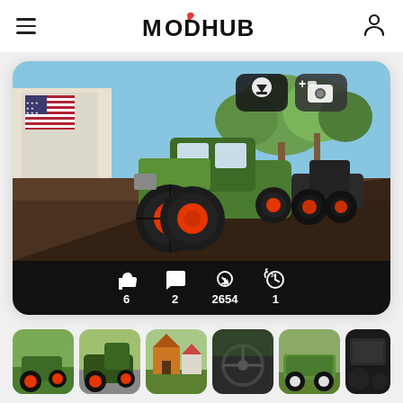MODHUB
[Figure (screenshot): Farming Simulator game screenshot showing green tractor with orange wheels parked on dirt ground, American flag on building wall, trees in background, another tractor visible in distance. Download and camera action buttons visible in top right of image. Below image: stats bar showing likes=6, comments=2, downloads=2654, daily=1.]
[Figure (screenshot): Thumbnail strip showing 6 farming simulator game screenshots: green tractor in field, tractor on road, farm buildings, steering wheel interior view, green wagon/trailer, dark interior.]